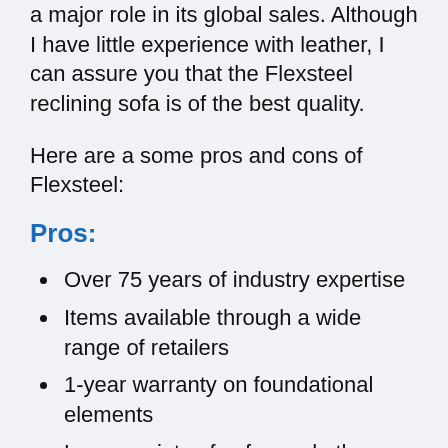a major role in its global sales. Although I have little experience with leather, I can assure you that the Flexsteel reclining sofa is of the best quality.
Here are a some pros and cons of Flexsteel:
Pros:
Over 75 years of industry expertise
Items available through a wide range of retailers
1-year warranty on foundational elements
Large variety of sofas and other home